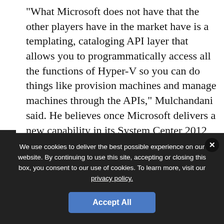"What Microsoft does not have that the other players have in the market have is a templating, cataloging API layer that allows you to programmatically access all the functions of Hyper-V so you can do things like provision machines and manage machines through the APIs," Mulchandani said. He believes once Microsoft delivers a new capability in its System Center 2012 called System Center App Controller 2012, code-named "Project Concero", that those barriers to managing Azure and HyperV will be lifted. Microsoft released System Center App Controller to beta late last month and said it expects it to be commercially available in the first half of the year.
We use cookies to deliver the best possible experience on our website. By continuing to use this site, accepting or closing this box, you consent to our use of cookies. To learn more, visit our privacy policy.